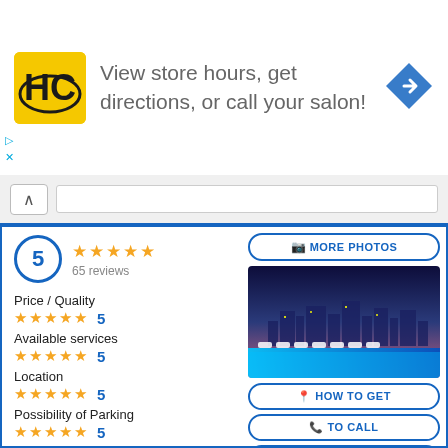[Figure (screenshot): Advertisement banner for a hair salon (HC logo) with text 'View store hours, get directions, or call your salon!' and a blue navigation arrow icon]
View store hours, get directions, or call your salon!
5
65 reviews
Price / Quality
★★★★★ 5
Available services
★★★★★ 5
Location
★★★★★ 5
Possibility of Parking
★★★★★ 5
Wifi
★★★★★ 5
[Figure (photo): Hotel rooftop pool at night with city skyline in the background]
MORE PHOTOS
HOW TO GET
TO CALL
WHATSAPP